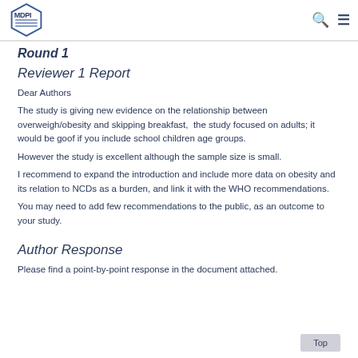MDPI
Round 1
Reviewer 1 Report
Dear Authors
The study is giving new evidence on the relationship between overweigh/obesity and skipping breakfast,  the study focused on adults; it would be goof if you include school children age groups.
However the study is excellent although the sample size is small.
I recommend to expand the introduction and include more data on obesity and its relation to NCDs as a burden, and link it with the WHO recommendations.
You may need to add few recommendations to the public, as an outcome to your study.
Author Response
Please find a point-by-point response in the document attached.